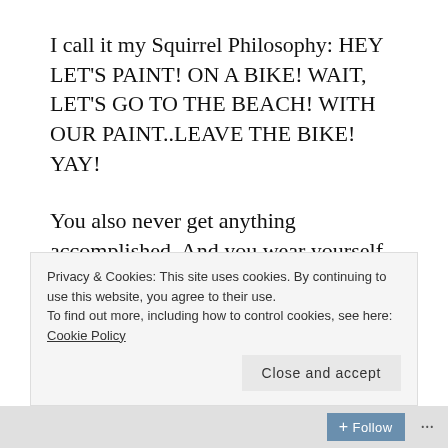I call it my Squirrel Philosophy: HEY LET'S PAINT! ON A BIKE! WAIT, LET'S GO TO THE BEACH! WITH OUR PAINT..LEAVE THE BIKE! YAY!
You also never get anything accomplished. And you wear yourself out from high-energy spontaneity all the time. And you kinda look like a spaz (gotta keep that on the down-low, if you know what I mean).
Privacy & Cookies: This site uses cookies. By continuing to use this website, you agree to their use.
To find out more, including how to control cookies, see here: Cookie Policy
Follow